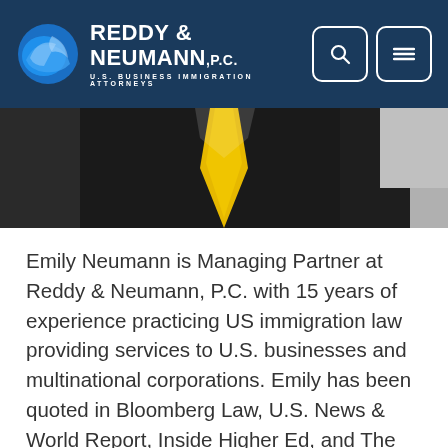REDDY & NEUMANN, P.C. — U.S. BUSINESS IMMIGRATION ATTORNEYS
[Figure (photo): Partial photo of a person in a black suit with a yellow tie, cropped to show torso/shoulders area against a light background.]
Emily Neumann is Managing Partner at Reddy & Neumann, P.C. with 15 years of experience practicing US immigration law providing services to U.S. businesses and multinational corporations. Emily has been quoted in Bloomberg Law, U.S. News & World Report, Inside Higher Ed, and The Times of India on various hot topics in immigration. She is a member of the American Immigration Lawyers Association and Society for Human Resource